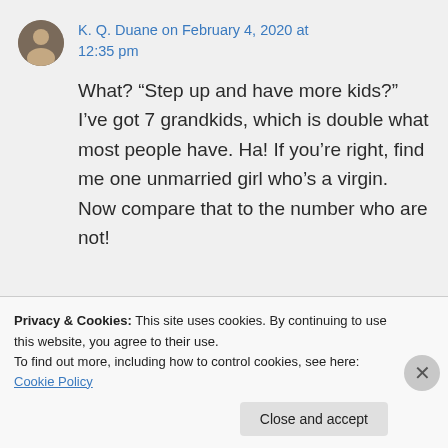K. Q. Duane on February 4, 2020 at 12:35 pm
What? “Step up and have more kids?” I’ve got 7 grandkids, which is double what most people have. Ha! If you’re right, find me one unmarried girl who’s a virgin. Now compare that to the number who are not!
Privacy & Cookies: This site uses cookies. By continuing to use this website, you agree to their use.
To find out more, including how to control cookies, see here: Cookie Policy
Close and accept